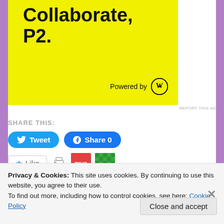[Figure (advertisement): Yellow background ad block showing 'Collaborate, P2.' in bold black text with 'Powered by WordPress logo' in bottom right]
REPORT THIS AD
SHARE THIS:
Tweet  Share 0
Like  [print icon] [red avatar mus] [green avatar]
3 bloggers like this.
Privacy & Cookies: This site uses cookies. By continuing to use this website, you agree to their use.
To find out more, including how to control cookies, see here: Cookie Policy
Close and accept